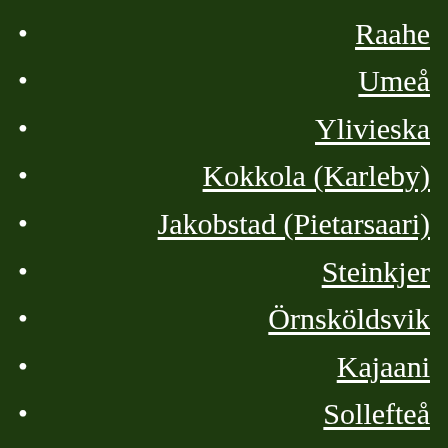Raahe
Umeå
Ylivieska
Kokkola (Karleby)
Jakobstad (Pietarsaari)
Steinkjer
Örnsköldsvik
Kajaani
Sollefteå